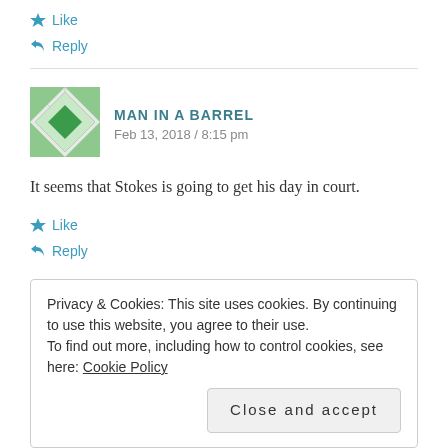★ Like
↩ Reply
[Figure (illustration): Geometric quilt-pattern avatar for Man In A Barrel commenter]
MAN IN A BARREL
Feb 13, 2018 / 8:15 pm
It seems that Stokes is going to get his day in court.
★ Like
↩ Reply
Privacy & Cookies: This site uses cookies. By continuing to use this website, you agree to their use.
To find out more, including how to control cookies, see here: Cookie Policy
Close and accept
[Figure (illustration): Partial geometric quilt-pattern avatar for Elaine Simpson-Long commenter]
ELAINE SIMPSON-LONG